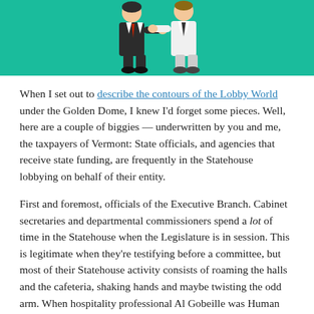[Figure (illustration): Cartoon illustration on teal/green background showing two figures in suits shaking hands — one in a black suit, one in a white suit with a tie]
When I set out to describe the contours of the Lobby World under the Golden Dome, I knew I'd forget some pieces. Well, here are a couple of biggies — underwritten by you and me, the taxpayers of Vermont: State officials, and agencies that receive state funding, are frequently in the Statehouse lobbying on behalf of their entity.
First and foremost, officials of the Executive Branch. Cabinet secretaries and departmental commissioners spend a lot of time in the Statehouse when the Legislature is in session. This is legitimate when they're testifying before a committee, but most of their Statehouse activity consists of roaming the halls and the cafeteria, shaking hands and maybe twisting the odd arm. When hospitality professional Al Gobeille was Human Services Secretary, he seemed to be in the Statehouse every day.